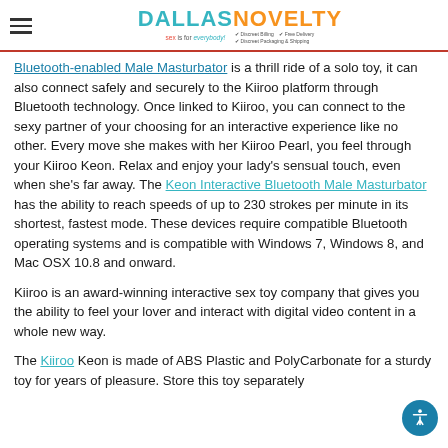Dallas Novelty — sex is for everybody!
Bluetooth-enabled Male Masturbator is a thrill ride of a solo toy, it can also connect safely and securely to the Kiiroo platform through Bluetooth technology. Once linked to Kiiroo, you can connect to the sexy partner of your choosing for an interactive experience like no other. Every move she makes with her Kiiroo Pearl, you feel through your Kiiroo Keon. Relax and enjoy your lady's sensual touch, even when she's far away. The Keon Interactive Bluetooth Male Masturbator has the ability to reach speeds of up to 230 strokes per minute in its shortest, fastest mode. These devices require compatible Bluetooth operating systems and is compatible with Windows 7, Windows 8, and Mac OSX 10.8 and onward.
Kiiroo is an award-winning interactive sex toy company that gives you the ability to feel your lover and interact with digital video content in a whole new way.
The Kiiroo Keon is made of ABS Plastic and PolyCarbonate for a sturdy toy for years of pleasure. Store this toy separately